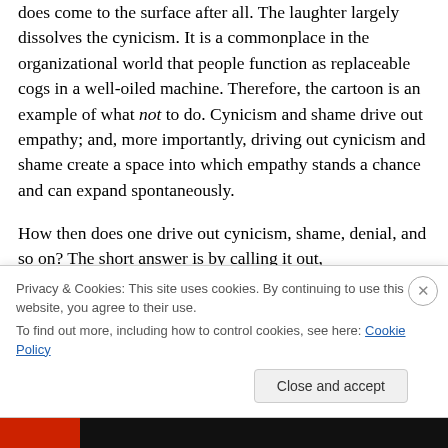does come to the surface after all. The laughter largely dissolves the cynicism. It is a commonplace in the organizational world that people function as replaceable cogs in a well-oiled machine. Therefore, the cartoon is an example of what not to do. Cynicism and shame drive out empathy; and, more importantly, driving out cynicism and shame create a space into which empathy stands a chance and can expand spontaneously.
How then does one drive out cynicism, shame, denial, and so on? The short answer is by calling it out, acknowledging it, interpreting it, and offering an alternative
Privacy & Cookies: This site uses cookies. By continuing to use this website, you agree to their use. To find out more, including how to control cookies, see here: Cookie Policy